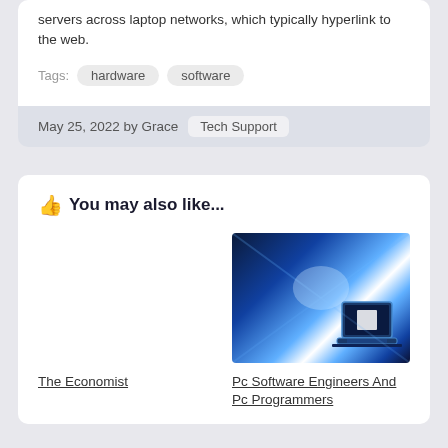servers across laptop networks, which typically hyperlink to the web.
Tags: hardware software
May 25, 2022 by Grace  Tech Support
👍 You may also like...
The Economist
[Figure (photo): Futuristic blue glowing laptop in a digital tunnel/server room environment with bright light beams]
Pc Software Engineers And Pc Programmers